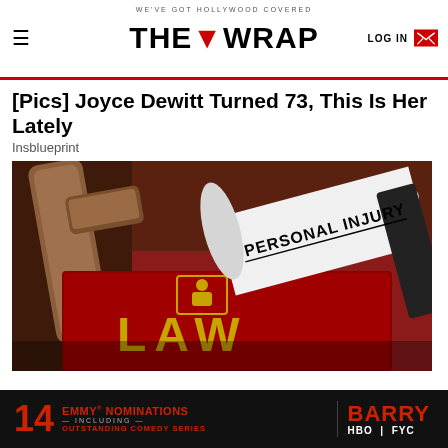WE'VE GOT HOLLYWOOD COVERED — THE WRAP — LOG IN
[Pics] Joyce Dewitt Turned 73, This Is Her Lately
Insblueprint
[Figure (photo): A rolled document labeled 'Personal Injury' resting on a red law book with gold lettering 'LAW' and a wooden gavel in the background]
[Figure (infographic): Ad banner: 14 Emmy Nominations Including Outstanding Comedy Series — Barry HBO FYC]